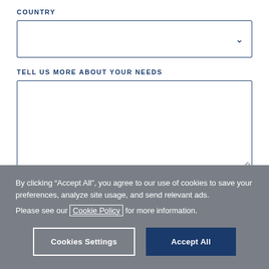COUNTRY
[Figure (screenshot): A form dropdown field for Country selection with a navy blue border and a chevron/arrow icon on the right.]
TELL US MORE ABOUT YOUR NEEDS
[Figure (screenshot): A large textarea input field with a navy blue border and a resize handle in the bottom-right corner.]
By clicking “Accept All”, you agree to our use of cookies to save your preferences, analyze site usage, and send relevant ads.
Please see our Cookie Policy for more information.
Cookies Settings
Accept All